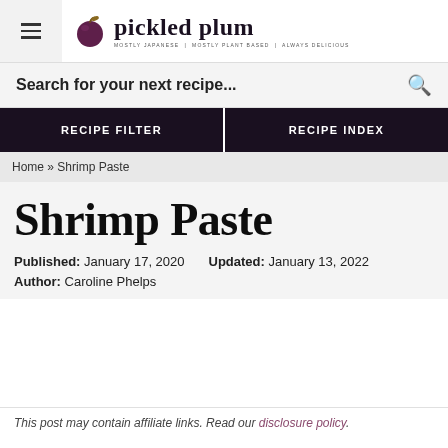pickled plum — MOSTLY JAPANESE | MOSTLY PLANT BASED | ALWAYS DELICIOUS
Search for your next recipe...
RECIPE FILTER | RECIPE INDEX
Home » Shrimp Paste
Shrimp Paste
Published: January 17, 2020   Updated: January 13, 2022
Author: Caroline Phelps
This post may contain affiliate links. Read our disclosure policy.